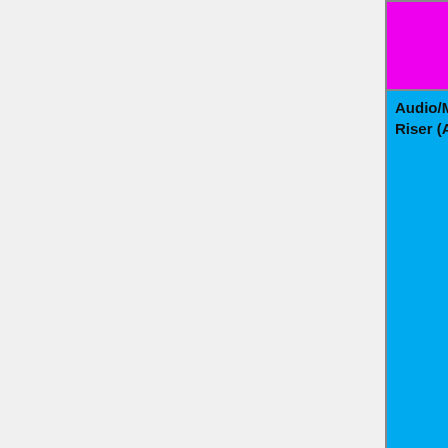| Category | Status Colors |
| --- | --- |
|  | | N/A=lightgra yellow }}" | N/A= |
| Audio/Modem-Riser (AMR/CNR) cards | OK=lime | TODO=red | No=red | WIP=orange | Untested=yel | N/A=lightgra yellow }}" | Untested |
| PCI add-on cards | OK=lime | TODO=red | No=red | WIP=orange | Untested=yel | N/A=lightgra yellow }}" | OK |
| Mini-PCI add-on cards | OK=lime | TODO=red | No=red | WIP=orange | Untested=yel | N/A=lightgra |